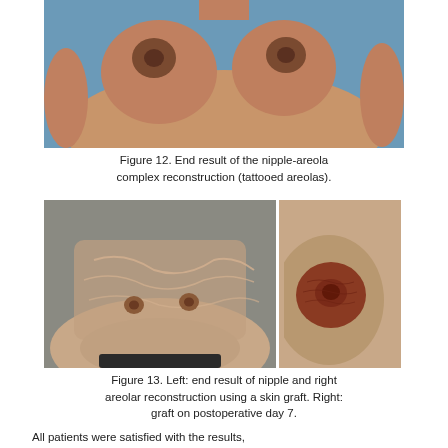[Figure (photo): Clinical photograph showing end result of nipple-areola complex reconstruction with tattooed areolas, frontal view of female patient's chest.]
Figure 12. End result of the nipple-areola complex reconstruction (tattooed areolas).
[Figure (photo): Two clinical photographs: Left shows frontal view of patient with nipple and areolar reconstruction using a skin graft; Right shows close-up view of graft on postoperative day 7.]
Figure 13. Left: end result of nipple and right areolar reconstruction using a skin graft. Right: graft on postoperative day 7.
All patients were satisfied with the results,